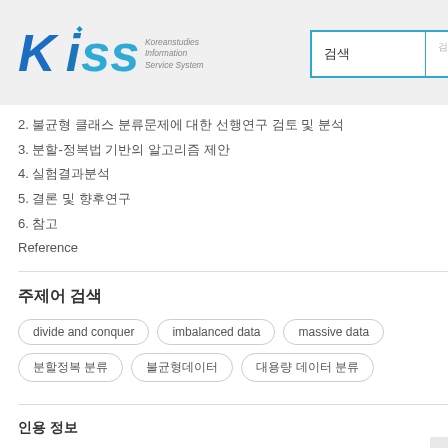[Figure (logo): KISS Koreanstudies Information Service System logo with blue stylized text and search bar]
2. 불균형 클래스 분류문제에 대한 선행연구 검토 및 분석
3. 분할-정복법 기반의 알고리즘 제안
4. 실험결과분석
5. 결론 및 향후연구
6. 참고
Reference
주제어 검색
divide and conquer
imbalanced data
massive data
분할정복 분류
불균형데이터
대용량 데이터 분류
인용 정보